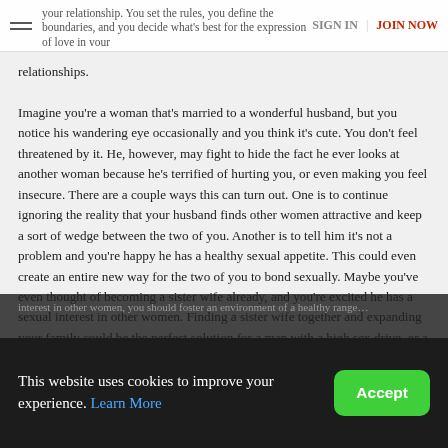SIGN IN | JOIN NOW
your relationship. You set the rules, you define the boundaries, and you decide what's best for the expression of love in your relationships.
Imagine you're a woman that's married to a wonderful husband, but you notice his wandering eye occasionally and you think it's cute. You don't feel threatened by it. He, however, may fight to hide the fact he ever looks at another woman because he's terrified of hurting you, or even making you feel insecure. There are a couple ways this can turn out. One is to continue ignoring the reality that your husband finds other women attractive and keep a sort of wedge between the two of you. Another is to tell him it's not a problem and you're happy he has a healthy sexual appetite. This could even create an entire new way for the two of you to bond sexually. Maybe you've even thought of becoming a sister wife already, and you're excited he has a sexual interest in other women. Finding a sister wife together and expanding your family could be the perfect solution for a man with a high sex drive, or a woman that would simply enjoy bonding with another woman over a shared husband. It's important to be open minded and support the dreams of the people you love even if it means experimenting with a little polygamy dating and exploration. This also should work both ways. If your wife has a strong interest in other women, you should foster an environment of a healthy range...
This website uses cookies to improve your experience. Learn More